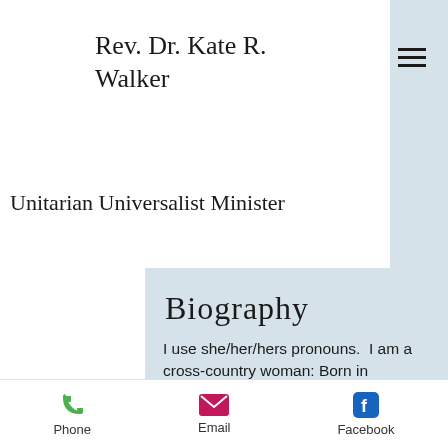Rev. Dr. Kate R. Walker
Unitarian Universalist Minister
Biography
I use she/her/hers pronouns. I am a cross-country woman: Born in California, grew up in Providence, RI, with our family base in Colorado. I've been Unitarian Universalist all my life, and in my ministry one way or another all my
Phone  Email  Facebook